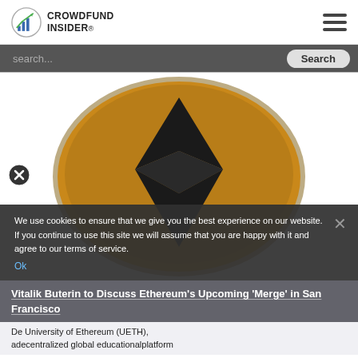CROWDFUND INSIDER
[Figure (screenshot): Search bar with dark grey background showing 'search...' placeholder text and a 'Search' button on the right]
[Figure (photo): Large gold/yellow Ethereum coin with black Ethereum diamond logo on white background. A circular close button (X) appears on the left side.]
We use cookies to ensure that we give you the best experience on our website. If you continue to use this site we will assume that you are happy with it and agree to our terms of service.
Vitalik Buterin to Discuss Ethereum's Upcoming 'Merge' in San Francisco
De University of Ethereum (UETH), adecentralized global educationalplatform